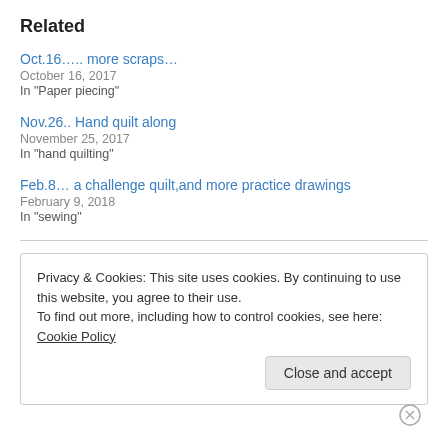Related
Oct.16….. more scraps…
October 16, 2017
In "Paper piecing"
Nov.26.. Hand quilt along
November 25, 2017
In "hand quilting"
Feb.8… a challenge quilt,and more practice drawings
February 9, 2018
In "sewing"
Privacy & Cookies: This site uses cookies. By continuing to use this website, you agree to their use.
To find out more, including how to control cookies, see here: Cookie Policy
Close and accept